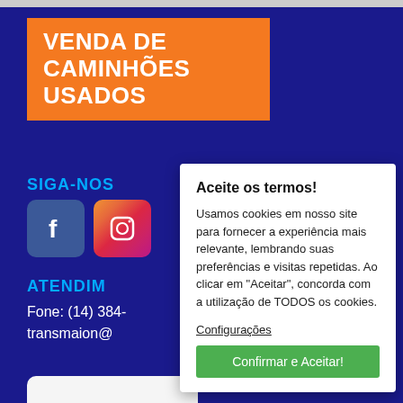VENDA DE CAMINHÕES USADOS
SIGA-NOS
[Figure (logo): Facebook icon (blue rounded square with white f)]
[Figure (logo): Instagram icon (pink/gradient rounded square with camera icon)]
ATENDIM
Fone: (14) 384-
transmaion@
Aceite os termos!
Usamos cookies em nosso site para fornecer a experiência mais relevante, lembrando suas preferências e visitas repetidas. Ao clicar em "Aceitar", concorda com a utilização de TODOS os cookies.
Configurações
Confirmar e Aceitar!